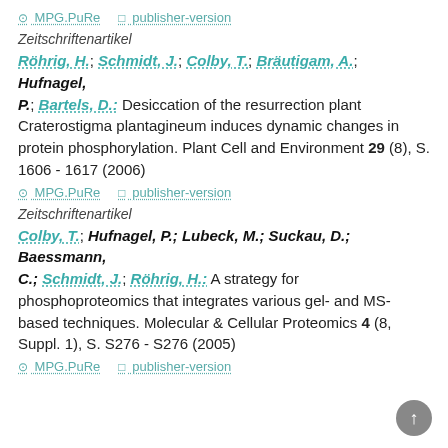⊙ MPG.PuRe  □ publisher-version
Zeitschriftenartikel
Röhrig, H.; Schmidt, J.; Colby, T.; Bräutigam, A.; Hufnagel, P.; Bartels, D.: Desiccation of the resurrection plant Craterostigma plantagineum induces dynamic changes in protein phosphorylation. Plant Cell and Environment 29 (8), S. 1606 - 1617 (2006)
⊙ MPG.PuRe  □ publisher-version
Zeitschriftenartikel
Colby, T.; Hufnagel, P.; Lubeck, M.; Suckau, D.; Baessmann, C.; Schmidt, J.; Röhrig, H.: A strategy for phosphoproteomics that integrates various gel- and MS-based techniques. Molecular & Cellular Proteomics 4 (8, Suppl. 1), S. S276 - S276 (2005)
⊙ MPG.PuRe  □ publisher-version